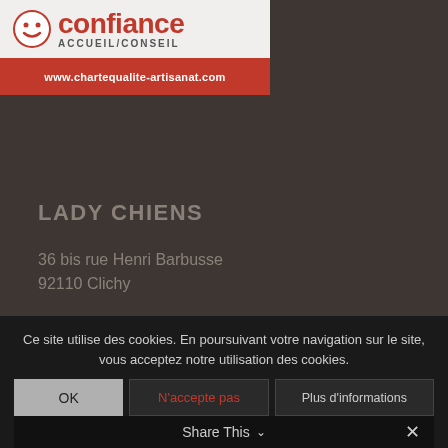[Figure (logo): Confiance Accueil/Conseil logo with smiley face icon and URL www.chartequalite-artisanat.com on red banner]
LADY CHIENS
36 bis rue Henri Barbusse
92110 Clichy
Tél: 01 47 31 81 13
Ce site utilise des cookies. En poursuivant votre navigation sur le site, vous acceptez notre utilisation des cookies.
OK  N'accepte pas  Plus d'informations
Share This